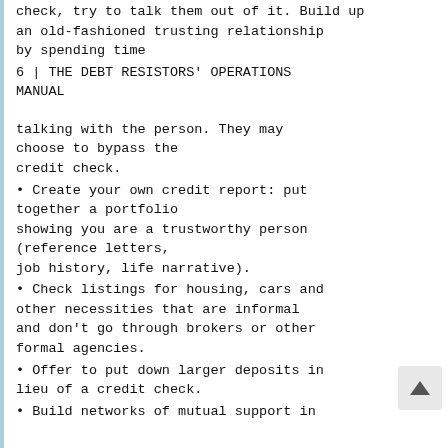check, try to talk them out of it. Build up an old-fashioned trusting relationship by spending time
6 | THE DEBT RESISTORS' OPERATIONS MANUAL
talking with the person. They may choose to bypass the credit check.
• Create your own credit report: put together a portfolio showing you are a trustworthy person (reference letters, job history, life narrative).
• Check listings for housing, cars and other necessities that are informal and don't go through brokers or other formal agencies.
• Offer to put down larger deposits in lieu of a credit check.
• Build networks of mutual support in